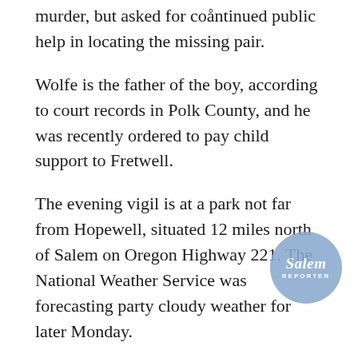murder, but asked for coåntinued public help in locating the missing pair.
Wolfe is the father of the boy, according to court records in Polk County, and he was recently ordered to pay child support to Fretwell.
The evening vigil is at a park not far from Hopewell, situated 12 miles north of Salem on Oregon Highway 221. The National Weather Service was forecasting party cloudy weather for later Monday.
[Figure (logo): Salem Reporter circular logo in blue with italic serif text]
Moats said there would be speakers and music at the event...